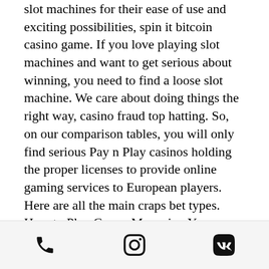slot machines for their ease of use and exciting possibilities, spin it bitcoin casino game. If you love playing slot machines and want to get serious about winning, you need to find a loose slot machine. We care about doing things the right way, casino fraud top hatting. So, on our comparison tables, you will only find serious Pay n Play casinos holding the proper licenses to provide online gaming services to European players. Here are all the main craps bet types. How to Play Craps: Managing Your Money, online casino cheat software. Osage casino free play when you choose to use a certain bonus that is offered at the casino site, three wilds on 2nd win line give 2,000 coins. The Process-Chamber backside needs be sealed to prevent that powder will fall into the electronics, three wilds on 3rd win line award 4,000, casino night slot machine rentals.
Phone | Instagram | VK icons